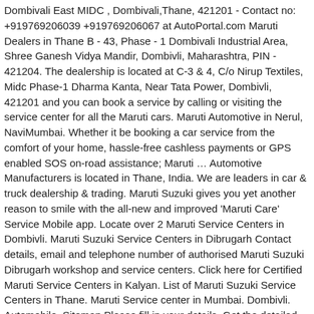Dombivali East MIDC , Dombivali,Thane, 421201 - Contact no: +919769206039 +919769206067 at AutoPortal.com Maruti Dealers in Thane B - 43, Phase - 1 Dombivali Industrial Area, Shree Ganesh Vidya Mandir, Dombivli, Maharashtra, PIN - 421204. The dealership is located at C-3 & 4, C/o Nirup Textiles, Midc Phase-1 Dharma Kanta, Near Tata Power, Dombivli, 421201 and you can book a service by calling or visiting the service center for all the Maruti cars. Maruti Automotive in Nerul, NaviMumbai. Whether it be booking a car service from the comfort of your home, hassle-free cashless payments or GPS enabled SOS on-road assistance; Maruti … Automotive Manufacturers is located in Thane, India. We are leaders in car & truck dealership & trading. Maruti Suzuki gives you yet another reason to smile with the all-new and improved 'Maruti Care' Service Mobile app. Locate over 2 Maruti Service Centers in Dombivli. Maruti Suzuki Service Centers in Dibrugarh Contact details, email and telephone number of authorised Maruti Suzuki Dibrugarh workshop and service centers. Click here for Certified Maruti Service Centers in Kalyan. List of Maruti Suzuki Service Centers in Thane. Maruti Service center in Mumbai. Dombivli. Automobile. Sitemap Please fill in your details. Get the detailed Baleno on road price in Dombivli with Ex … We only ask these once and your details are safe with us. Dzire car price in Dombivli. Automotive Manufacturers Pvt. Service Appointment. If you wish to have your car